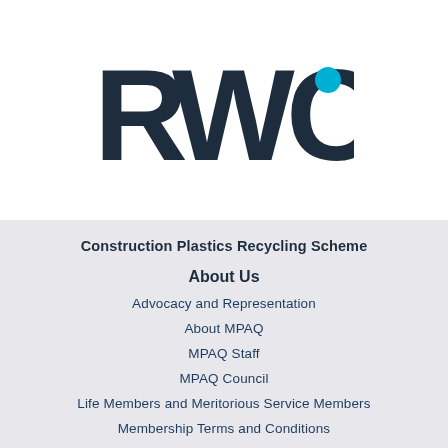[Figure (logo): RWC logo — bold dark teal letters R, W, C with a cyan dot accent inside the C, on white background]
Construction Plastics Recycling Scheme
About Us
Advocacy and Representation
About MPAQ
MPAQ Staff
MPAQ Council
Life Members and Meritorious Service Members
Membership Terms and Conditions